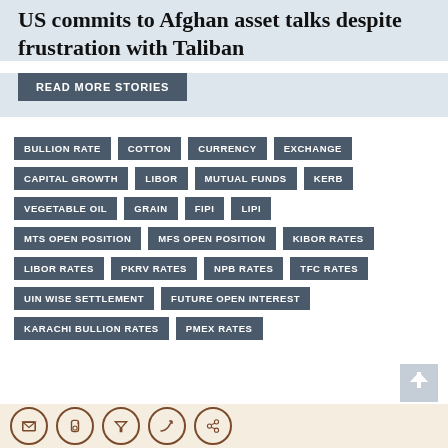US commits to Afghan asset talks despite frustration with Taliban
READ MORE STORIES
BULLION RATE
COTTON
CURRENCY
EXCHANGE
CAPITAL GROWTH
LIBOR
MUTUAL FUNDS
KERB
VEGETABLE OIL
GRAIN
FIPI
LIPI
MTS OPEN POSITION
MFS OPEN POSITION
KIBOR RATES
LIBOR RATES
PKRV RATES
NPB RATES
TFC RATES
UIN WISE SETTLEMENT
FUTURE OPEN INTEREST
KARACHI BULLION RATES
PMEX RATES